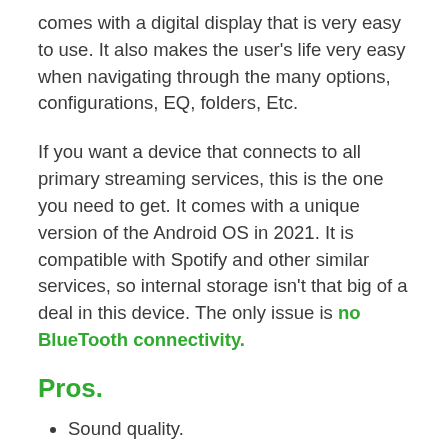comes with a digital display that is very easy to use. It also makes the user's life very easy when navigating through the many options, configurations, EQ, folders, Etc.
If you want a device that connects to all primary streaming services, this is the one you need to get. It comes with a unique version of the Android OS in 2021. It is compatible with Spotify and other similar services, so internal storage isn't that big of a deal in this device. The only issue is no BlueTooth connectivity.
Pros.
Sound quality.
Long battery life.
MicroSD slot.